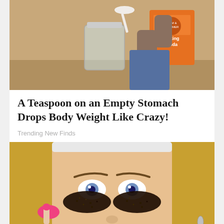[Figure (photo): Person holding an Arm & Hammer baking soda box and a white spoon over a glass jar on a kitchen counter]
A Teaspoon on an Empty Stomach Drops Body Weight Like Crazy!
Trending New Finds
[Figure (photo): Close-up of a blonde woman with dark coffee grounds or similar black substance applied under both eyes as a beauty treatment, pink nails visible]